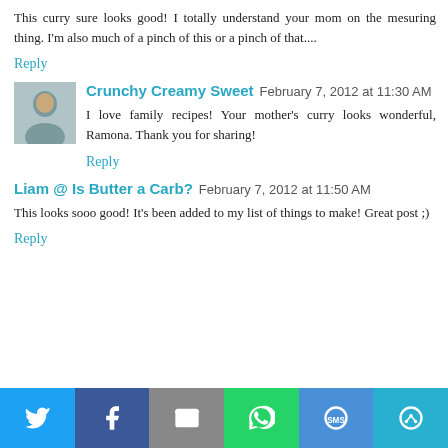This curry sure looks good! I totally understand your mom on the mesuring thing. I'm also much of a pinch of this or a pinch of that....
Reply
Crunchy Creamy Sweet  February 7, 2012 at 11:30 AM
I love family recipes! Your mother's curry looks wonderful, Ramona. Thank you for sharing!
Reply
Liam @ Is Butter a Carb?  February 7, 2012 at 11:50 AM
This looks sooo good! It's been added to my list of things to make! Great post ;)
Reply
[Figure (infographic): Social share bar with Twitter, Facebook, Email, WhatsApp, SMS, and More buttons]